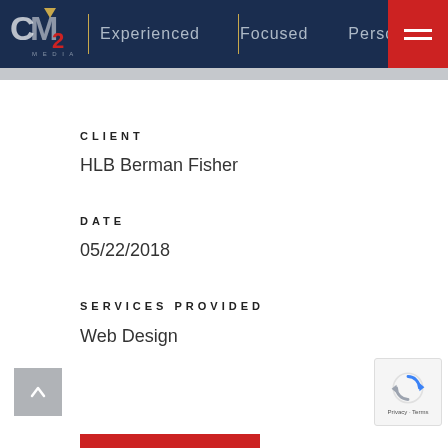[Figure (logo): CM2 Media logo with navigation bar showing Experienced, Focused, Personali... text and hamburger menu in red box]
CLIENT
HLB Berman Fisher
DATE
05/22/2018
SERVICES PROVIDED
Web Design